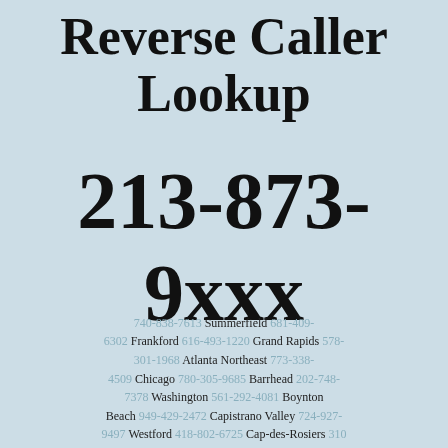Reverse Caller Lookup
213-873-9xxx
740-838-7613 Summerfield 681-409-6302 Frankford 616-493-1220 Grand Rapids 578-301-1968 Atlanta Northeast 773-338-4509 Chicago 780-305-9685 Barrhead 202-748-7378 Washington 561-292-4081 Boynton Beach 949-429-2472 Capistrano Valley 724-927-9497 Westford 418-802-6725 Cap-des-Rosiers 310